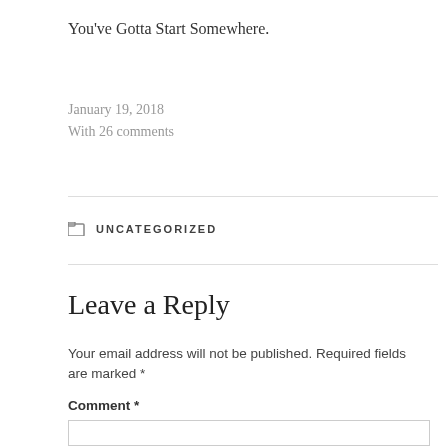You've Gotta Start Somewhere.
January 19, 2018
With 26 comments
UNCATEGORIZED
Leave a Reply
Your email address will not be published. Required fields are marked *
Comment *